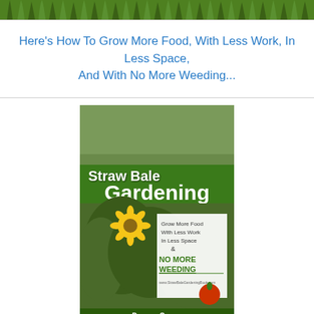[Figure (photo): Close-up photo of green grass blades at the top of the page]
Here's How To Grow More Food, With Less Work, In Less Space, And With No More Weeding...
[Figure (photo): Book cover of 'Straw Bale Gardening' by Duncan Carver, showing sunflowers and garden plants with text: Grow More Food With Less Work In Less Space & NO MORE WEEDING]